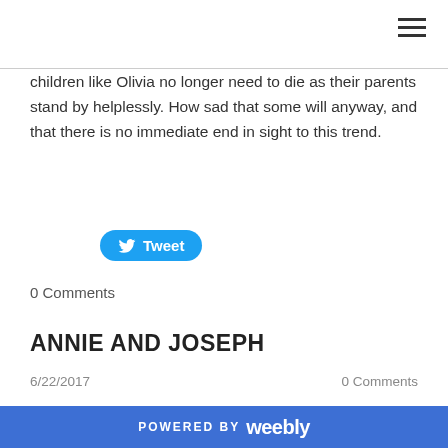[Figure (other): Hamburger menu icon (three horizontal lines) in top right corner]
children like Olivia no longer need to die as their parents stand by helplessly. How sad that some will anyway, and that there is no immediate end in sight to this trend.
[Figure (other): Twitter Tweet button (blue rounded rectangle with bird icon and 'Tweet' text)]
0 Comments
ANNIE AND JOSEPH
6/22/2017
0 Comments
I am a bit of a genealogy buff - not so much because I enjoy long lists of “begats” but rather because I love
POWERED BY weebly